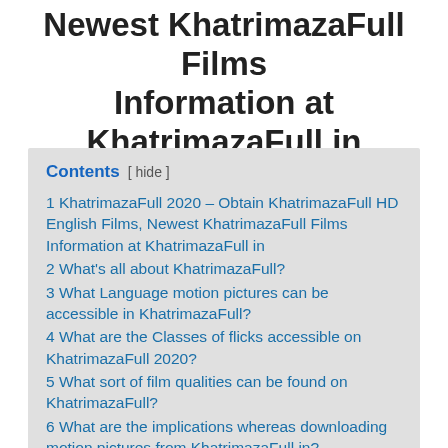Newest KhatrimazaFull Films Information at KhatrimazaFull in
Contents [ hide ]
1 KhatrimazaFull 2020 – Obtain KhatrimazaFull HD English Films, Newest KhatrimazaFull Films Information at KhatrimazaFull in
2 What's all about KhatrimazaFull?
3 What Language motion pictures can be accessible in KhatrimazaFull?
4 What are the Classes of flicks accessible on KhatrimazaFull 2020?
5 What sort of film qualities can be found on KhatrimazaFull?
6 What are the implications whereas downloading motion pictures from KhatrimazaFull.in?
7 What are the totally different hyperlinks accessible for